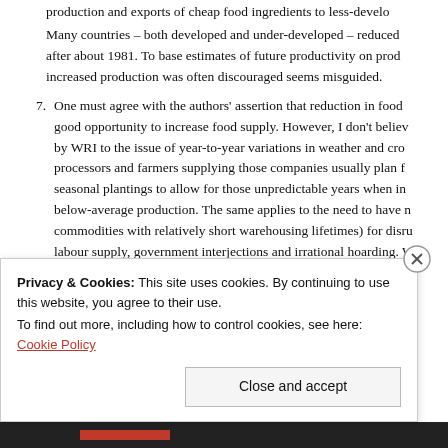production and exports of cheap food ingredients to less-developed...
Many countries – both developed and under-developed – reduced... after about 1981. To base estimates of future productivity on pro... increased production was often discouraged seems misguided.
7. One must agree with the authors' assertion that reduction in food... good opportunity to increase food supply. However, I don't belie... by WRI to the issue of year-to-year variations in weather and cro... processors and farmers supplying those companies usually plan f... seasonal plantings to allow for those unpredictable years when in... below-average production. The same applies to the need to have n... commodities with relatively short warehousing lifetimes) for disr... labour supply, government interjections and irrational hoarding. W... supply needs directly is often a less critical sin than the spectre o...
Privacy & Cookies: This site uses cookies. By continuing to use this website, you agree to their use.
To find out more, including how to control cookies, see here: Cookie Policy
Close and accept